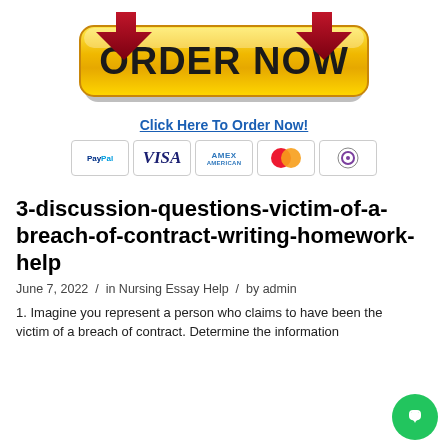[Figure (illustration): ORDER NOW button graphic with dark red arrows pointing down on top corners, gold/yellow gradient rounded rectangle button with bold black text reading ORDER NOW]
Click Here To Order Now!
[Figure (illustration): Payment icons row: PayPal, VISA, AMEX, Mastercard, and one more card icon, each in a bordered rectangle]
3-discussion-questions-victim-of-a-breach-of-contract-writing-homework-help
June 7, 2022  /  in Nursing Essay Help  /  by admin
1. Imagine you represent a person who claims to have been the victim of a breach of contract. Determine the information